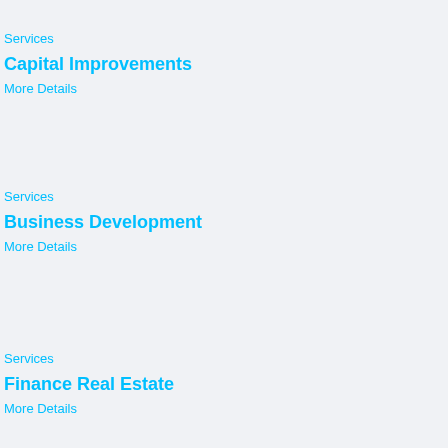Services
Capital Improvements
More Details
Services
Business Development
More Details
Services
Finance Real Estate
More Details